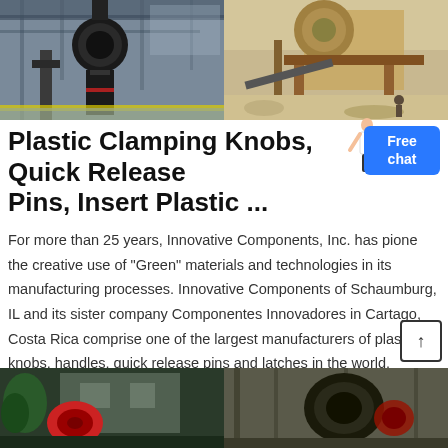[Figure (photo): Two industrial machinery photos side by side: left shows large industrial mill/grinder equipment in a factory setting; right shows a large rock crusher/quarry machine outdoors.]
Plastic Clamping Knobs, Quick Release Pins, Insert Plastic ...
For more than 25 years, Innovative Components, Inc. has pioneered the creative use of "Green" materials and technologies in its manufacturing processes. Innovative Components of Schaumburg, IL and its sister company Componentes Innovadores in Cartago, Costa Rica comprise one of the largest manufacturers of plastic knobs, handles, quick release pins and latches in the world.
→ الحصول على السعر
[Figure (photo): Two industrial/mining equipment photos at the bottom: left shows a red circular machine part near a building; right shows dark colored industrial crushing equipment.]